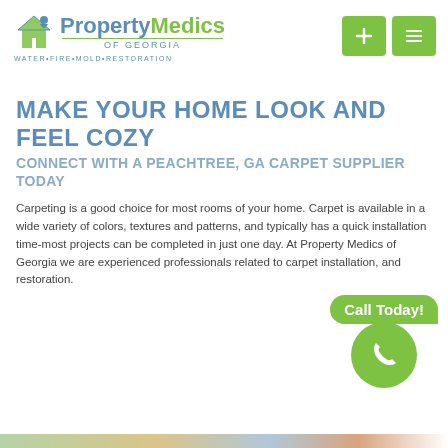[Figure (logo): PropertyMedics of Georgia logo with house icon, blue and green text, tagline WATER•FIRE•MOLD•RESTORATION]
[Figure (infographic): Two green navigation buttons: a plus icon and a list/menu icon]
MAKE YOUR HOME LOOK AND FEEL COZY
CONNECT WITH A PEACHTREE, GA CARPET SUPPLIER TODAY
Carpeting is a good choice for most rooms of your home. Carpet is available in a wide variety of colors, textures and patterns, and typically has a quick installation time-most projects can be completed in just one day. At Property Medics of Georgia we are experienced professionals related to carpet installation, and restoration.
[Figure (infographic): Green 'Call Today!' bubble with phone icon circle button]
[Figure (photo): Bottom strip showing a colorful partial image, likely carpet or home interior]